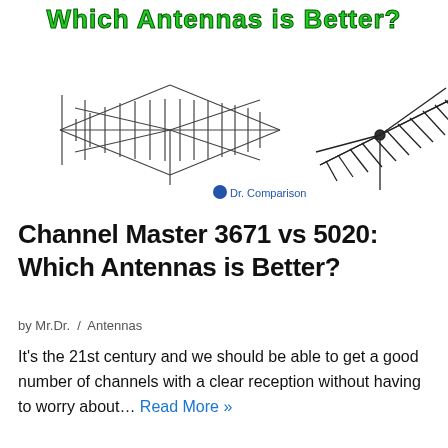[Figure (illustration): Header image showing two outdoor TV antennas side by side with green stylized bold text overlay reading 'Which Antennas is Better?' and a small 'Dr. Comparison' logo/icon in the center below the antennas.]
Channel Master 3671 vs 5020: Which Antennas is Better?
by Mr.Dr.  /  Antennas
It's the 21st century and we should be able to get a good number of channels with a clear reception without having to worry about… Read More »